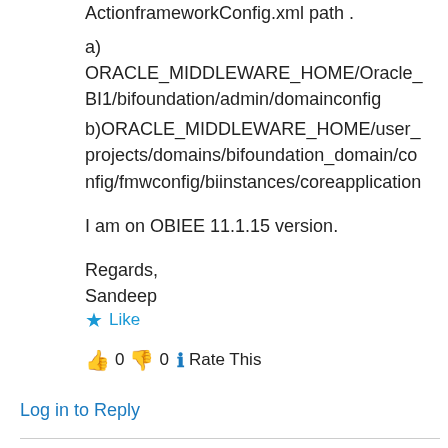ActionframeworkConfig.xml path .
a) ORACLE_MIDDLEWARE_HOME/Oracle_BI1/bifoundation/admin/domainconfig
b)ORACLE_MIDDLEWARE_HOME/user_projects/domains/bifoundation_domain/config/fmwconfig/biinstances/coreapplication
I am on OBIEE 11.1.15 version.
Regards,
Sandeep
Like
👍 0 👎 0 ℹ Rate This
Log in to Reply